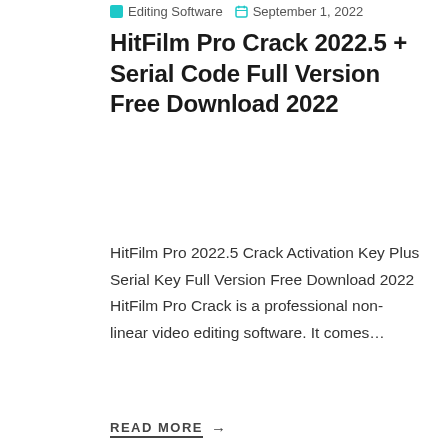Editing Software  September 1, 2022
HitFilm Pro Crack 2022.5 + Serial Code Full Version Free Download 2022
HitFilm Pro 2022.5 Crack Activation Key Plus Serial Key Full Version Free Download 2022 HitFilm Pro Crack is a professional non-linear video editing software. It comes…
READ MORE →
[Figure (screenshot): App icon with teal/cyan rounded square border on black background with green bottom bar and play triangle]